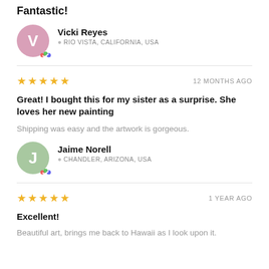Fantastic!
Vicki Reyes
RIO VISTA, CALIFORNIA, USA
★★★★★  12 MONTHS AGO
Great! I bought this for my sister as a surprise. She loves her new painting
Shipping was easy and the artwork is gorgeous.
Jaime Norell
CHANDLER, ARIZONA, USA
★★★★★  1 YEAR AGO
Excellent!
Beautiful art, brings me back to Hawaii as I look upon it.